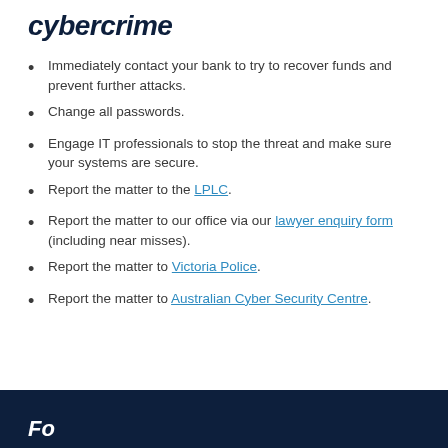cybercrime
Immediately contact your bank to try to recover funds and prevent further attacks.
Change all passwords.
Engage IT professionals to stop the threat and make sure your systems are secure.
Report the matter to the LPLC.
Report the matter to our office via our lawyer enquiry form (including near misses).
Report the matter to Victoria Police.
Report the matter to Australian Cyber Security Centre.
Fo...